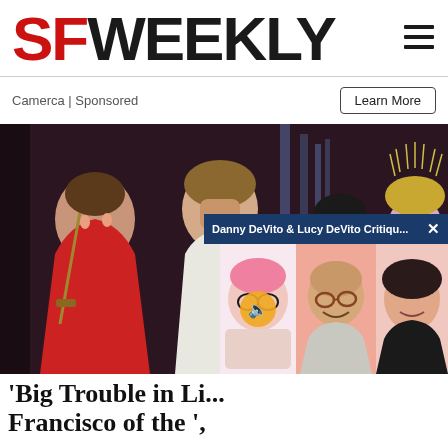SF WEEKLY
Camerca | Sponsored
Learn More
[Figure (photo): Movie still from Big Trouble in Little China featuring actors in dramatic poses with a woman in red holding a sword, a man in a white tank top, and background characters]
Danny DeVito & Lucy DeVito Critiqu...
[Figure (photo): Ad overlay showing Danny DeVito and Lucy DeVito with a cartoon illustration]
'Big Trouble in Li... Francisco of the ',